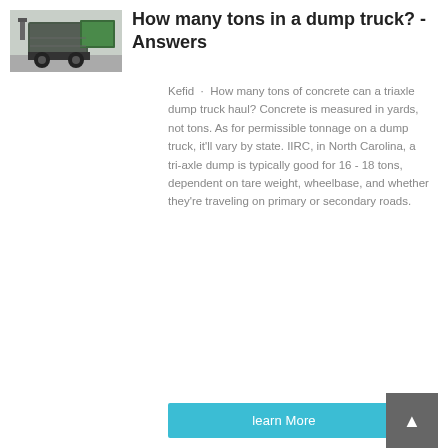[Figure (photo): Rear view of a dump truck, showing the back of the vehicle with green truck visible in background]
How many tons in a dump truck? - Answers
Kefid · How many tons of concrete can a triaxle dump truck haul? Concrete is measured in yards, not tons. As for permissible tonnage on a dump truck, it'll vary by state. IIRC, in North Carolina, a tri-axle dump is typically good for 16 - 18 tons, dependent on tare weight, wheelbase, and whether they're traveling on primary or secondary roads.
learn More